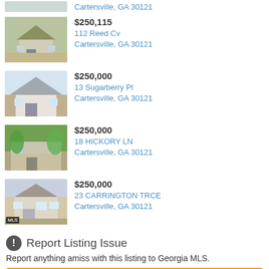Cartersville, GA 30121
[Figure (photo): House listing photo - partial view at top]
$250,115
112 Reed Cv
Cartersville, GA 30121
[Figure (photo): House listing photo for 112 Reed Cv]
$250,000
13 Sugarberry Pl
Cartersville, GA 30121
[Figure (photo): House listing photo for 13 Sugarberry Pl]
$250,000
18 HICKORY LN
Cartersville, GA 30121
[Figure (photo): House listing photo for 18 HICKORY LN]
$250,000
23 CARRINGTON TRCE
Cartersville, GA 30121
[Figure (photo): House listing photo for 23 CARRINGTON TRCE]
Report Listing Issue
Report anything amiss with this listing to Georgia MLS.
Report Issue
Permalink: https://www.georgiamls.com/94-bishop-drive-nw-